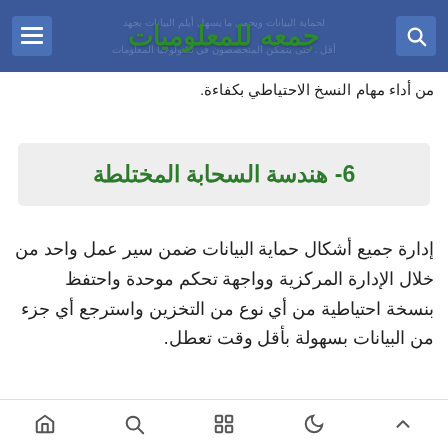جمعه للمعلوميات
من أداء مهام النسخ الاحتياطي بكفاءة.
6- هندسة السحابة المختلطة
إدارة جميع أشكال حماية البيانات ضمن سير عمل واحد من خلال الإدارة المركزية وواجهة تحكم موحدة واحتفظ بنسخة احتياطية من أي نوع من التخزين واسترجع أي جزء من البيانات بسهولة بأقل وقت تعطل.
7- حماية كاملة لأعمال النسخ